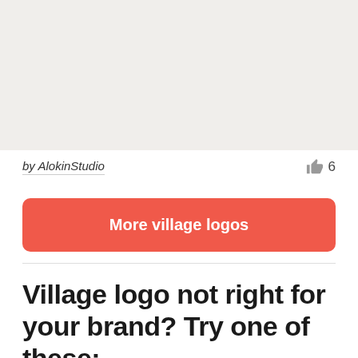[Figure (photo): Top portion of a logo image on a light beige/off-white background, partially cropped at top]
by AlokinStudio
6
More village logos
Village logo not right for your brand? Try one of these: